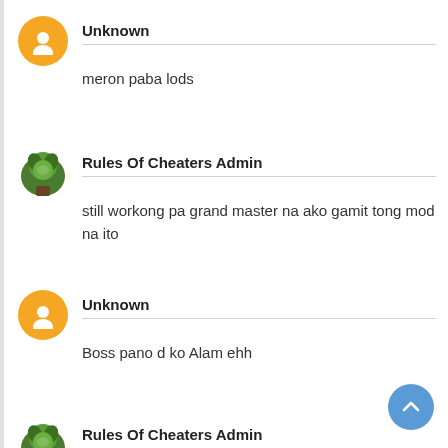Unknown
meron paba lods
Rules Of Cheaters Admin
still workong pa grand master na ako gamit tong mod na ito
Unknown
Boss pano d ko Alam ehh
Rules Of Cheaters Admin